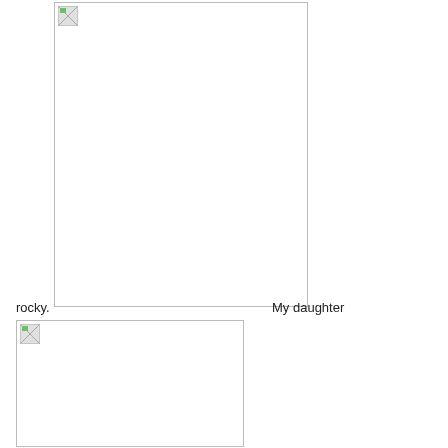[Figure (photo): Large image placeholder (broken image) — tall rectangle occupying upper left portion of the page]
rocky.
My daughter
[Figure (photo): Second image placeholder (broken image) — rectangle in lower left portion of the page]